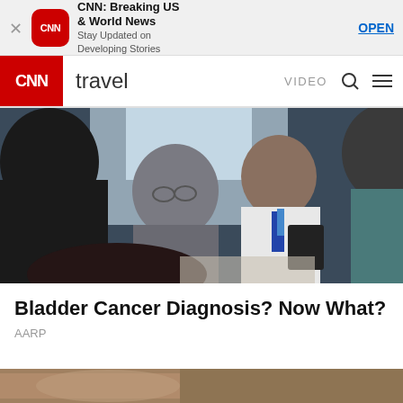[Figure (screenshot): App store banner for CNN Breaking US & World News with red CNN logo icon, title, subtitle 'Stay Updated on Developing Stories', and OPEN link]
CNN: Breaking US & World News
Stay Updated on Developing Stories
OPEN
[Figure (screenshot): CNN Travel navigation bar with red CNN logo, 'travel' text, VIDEO, search, and menu icons]
[Figure (photo): Doctor in white coat holding tablet talking with patient and others in a medical office setting]
Bladder Cancer Diagnosis? Now What?
AARP
[Figure (photo): Partial view of another article image at the bottom of the page]